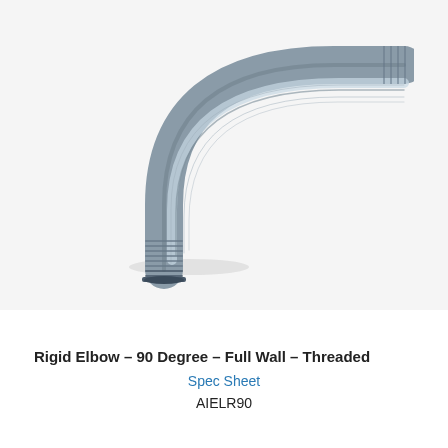[Figure (photo): A metallic rigid conduit elbow fitting, 90-degree angle, full wall, threaded ends. The elbow is made of silver/chrome-colored steel with visible threading at both ends. One end points downward-left and the other points to the right, forming a quarter-circle curve.]
Rigid Elbow – 90 Degree – Full Wall – Threaded
Spec Sheet
AIELR90